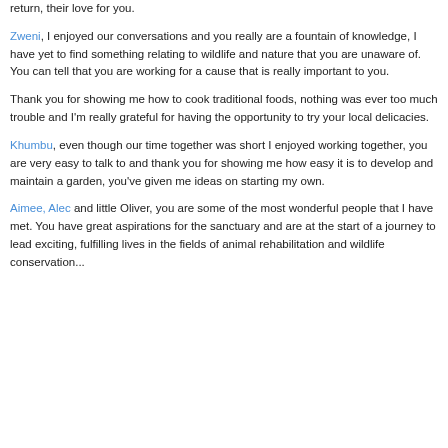return, their love for you.
Zweni, I enjoyed our conversations and you really are a fountain of knowledge, I have yet to find something relating to wildlife and nature that you are unaware of. You can tell that you are working for a cause that is really important to you.
Thank you for showing me how to cook traditional foods, nothing was ever too much trouble and I'm really grateful for having the opportunity to try your local delicacies.
Khumbu, even though our time together was short I enjoyed working together, you are very easy to talk to and thank you for showing me how easy it is to develop and maintain a garden, you've given me ideas on starting my own.
Aimee, Alec and little Oliver, you are some of the most wonderful people that I have met. You have great aspirations for the sanctuary and are at the start of a journey to lead exciting, fulfilling lives in the fields of animal rehabilitation and wildlife conservation...